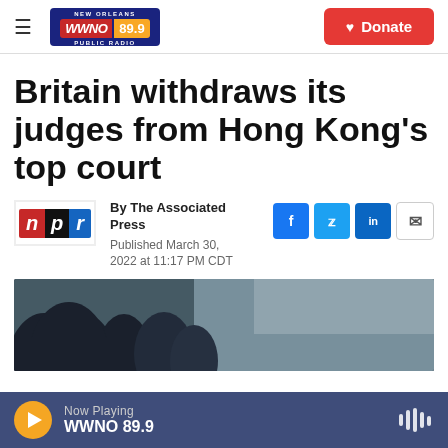WWNO 89.9 New Orleans Public Radio — Donate
Britain withdraws its judges from Hong Kong's top court
[Figure (logo): NPR logo with red N, black P, blue R blocks]
By The Associated Press
Published March 30, 2022 at 11:17 PM CDT
[Figure (photo): Outdoor photo showing dark tree silhouettes against a grey-blue sky]
Now Playing
WWNO 89.9